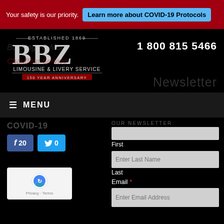Your safety is our priority. Learn more about COVID-19 Protocols
[Figure (logo): BBZ Limousine & Livery Service logo, Established 1869, 150 Year Anniversary]
1 800 815 5466
Newsletter
≡ MENU
COVID-19
[Figure (screenshot): Facebook like button showing 20 likes and Twitter follow button showing 0]
OUR NEWSLETTER
First
Enter Last Name
Last
Email *
Enter Email Address
[Figure (other): reCAPTCHA widget with Privacy and Terms links]